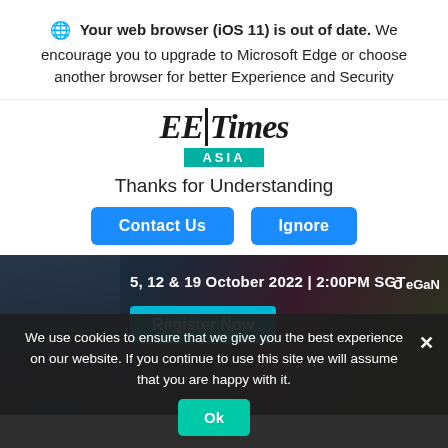Your web browser (iOS 11) is out of date. We encourage you to upgrade to Microsoft Edge or choose another browser for better Experience and Security
[Figure (logo): EE Times Asia logo with teal ASIA bar]
Thanks for Understanding
Contact Us   Ignore
[Figure (screenshot): Webinar banner: 5, 12 & 19 October 2022 | 2:00PM SGT with Register Now button and C eGaN tag]
We use cookies to ensure that we give you the best experience on our website. If you continue to use this site we will assume that you are happy with it.
Ok